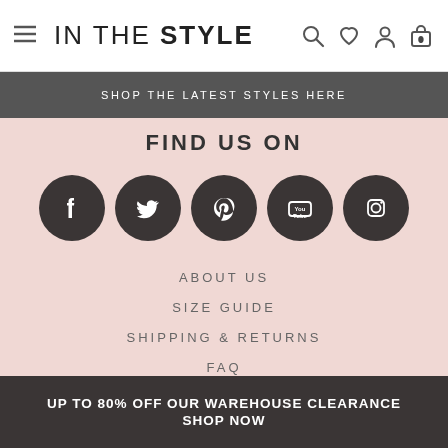IN THE STYLE — navigation header with hamburger menu, search, wishlist, account, cart icons
SHOP THE LATEST STYLES HERE
FIND US ON
[Figure (other): Five dark circular social media icons: Facebook, Twitter, Pinterest, YouTube, Instagram]
ABOUT US
SIZE GUIDE
SHIPPING & RETURNS
FAQ
CONTACT US
UP TO 80% OFF OUR WAREHOUSE CLEARANCE SHOP NOW